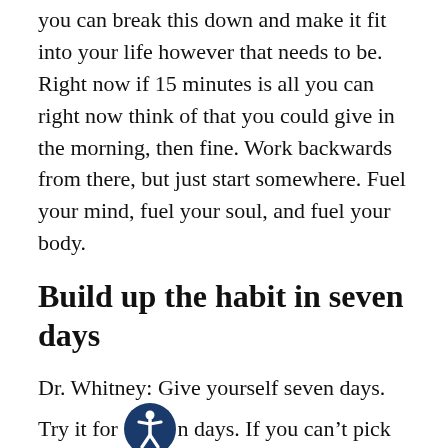you can break this down and make it fit into your life however that needs to be. Right now if 15 minutes is all you can right now think of that you could give in the morning, then fine. Work backwards from there, but just start somewhere. Fuel your mind, fuel your soul, and fuel your body.
Build up the habit in seven days
Dr. Whitney: Give yourself seven days. Try it for seven days. If you can't pick all three or all four things we talked about, pick one and then just build on it. Add momentum as you go.
Dr. Bryan: Great advice. Hopefully this blesses and help some people just to get out of their bed feeling like they're ready to actually be on point, be on purpose and actually serve whomever they serve, whether it be work or their families throughout the